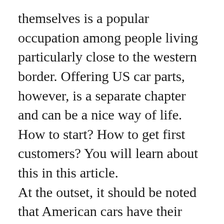themselves is a popular occupation among people living particularly close to the western border. Offering US car parts, however, is a separate chapter and can be a nice way of life. How to start? How to get first customers? You will learn about this in this article. At the outset, it should be noted that American cars have their own rules. European car parts will not fit American cars. There are also differences such as braking systems, gearboxes, and even the sizes of individual car parts. That is why American cars are difficult to maintain and repairing them in Europe is